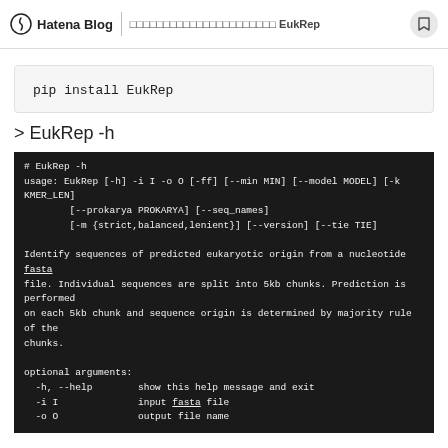Hatena Blog | □□□□□□□□□□□□□□□□□□□□□□ EukRep
pip install EukRep
> EukRep -h
# EukRep -h
usage: EukRep [-h] -i I -o O [-ff] [--min MIN] [--model MODEL] [-k KMER_LEN]
        [--prokarya PROKARYA] [--seq_names]
        [-m {strict,balanced,lenient}] [--version] [--tie TIE]

Identify sequences of predicted eukaryotic origin from a nucleotide fasta file. Individual sequences are split into 5kb chunks. Prediction is performed on each 5kb chunk and sequence origin is determined by majority rule of the chunks.

optional arguments:
  -h, --help        show this help message and exit
  -i I              input fasta file
  -o O              output file name